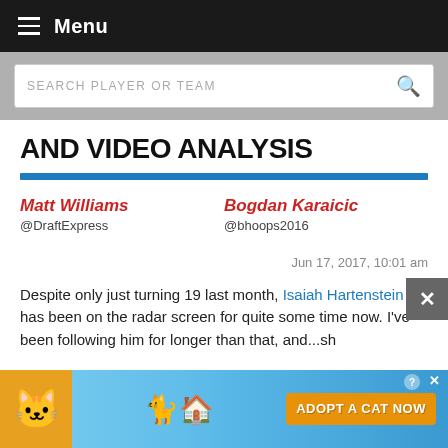Menu
SEARCH PLAYER OR TEAM
AND VIDEO ANALYSIS
Matt Williams @DraftExpress
Bogdan Karaicic @bhoops2016
Jun 17, 2017, 10:01 am
Despite only just turning 19 last month, Isaiah Hartenstein has been on the radar screen for quite some time now. I’ve been following him for longer than that, and... sh
[Figure (screenshot): Advertisement banner: Cat game ad with 'ADOPT A CAT NOW' text and cat illustrations]